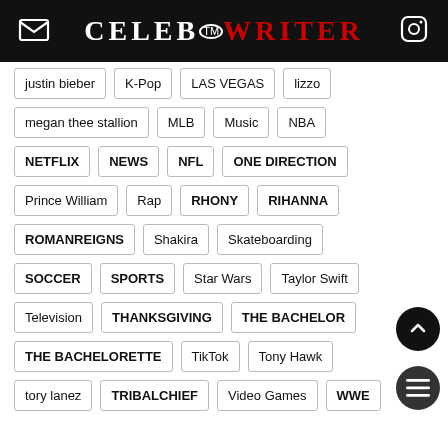CELEB™WRITER
justin bieber
K-Pop
LAS VEGAS
lizzo
megan thee stallion
MLB
Music
NBA
NETFLIX
NEWS
NFL
ONE DIRECTION
Prince William
Rap
RHONY
RIHANNA
ROMANREIGNS
Shakira
Skateboarding
SOCCER
SPORTS
Star Wars
Taylor Swift
Television
THANKSGIVING
THE BACHELOR
THE BACHELORETTE
TikTok
Tony Hawk
tory lanez
TRIBALCHIEF
Video Games
WWE